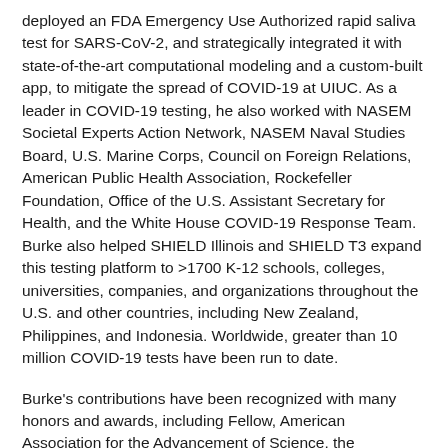deployed an FDA Emergency Use Authorized rapid saliva test for SARS-CoV-2, and strategically integrated it with state-of-the-art computational modeling and a custom-built app, to mitigate the spread of COVID-19 at UIUC. As a leader in COVID-19 testing, he also worked with NASEM Societal Experts Action Network, NASEM Naval Studies Board, U.S. Marine Corps, Council on Foreign Relations, American Public Health Association, Rockefeller Foundation, Office of the U.S. Assistant Secretary for Health, and the White House COVID-19 Response Team. Burke also helped SHIELD Illinois and SHIELD T3 expand this testing platform to >1700 K-12 schools, colleges, universities, companies, and organizations throughout the U.S. and other countries, including New Zealand, Philippines, and Indonesia. Worldwide, greater than 10 million COVID-19 tests have been run to date.
Burke's contributions have been recognized with many honors and awards, including Fellow, American Association for the Advancement of Science, the Presidential Medallion